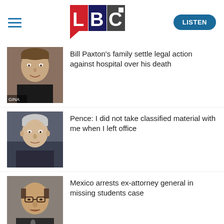LBC — LISTEN
Bill Paxton's family settle legal action against hospital over his death
Pence: I did not take classified material with me when I left office
Mexico arrests ex-attorney general in missing students case